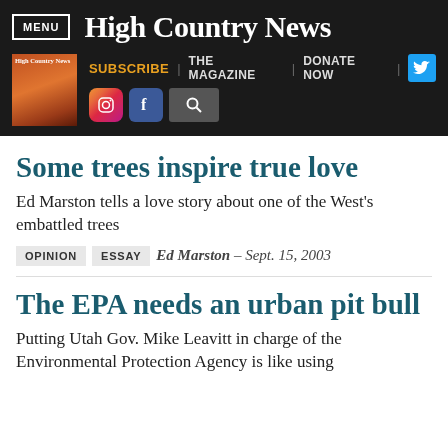MENU | High Country News
Some trees inspire true love
Ed Marston tells a love story about one of the West's embattled trees
OPINION  ESSAY  Ed Marston – Sept. 15, 2003
The EPA needs an urban pit bull
Putting Utah Gov. Mike Leavitt in charge of the Environmental Protection Agency is like using